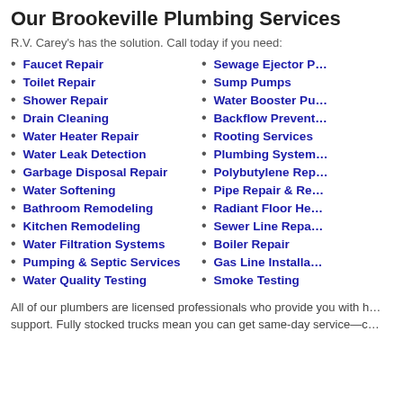Our Brookeville Plumbing Services
R.V. Carey's has the solution. Call today if you need:
Faucet Repair
Toilet Repair
Shower Repair
Drain Cleaning
Water Heater Repair
Water Leak Detection
Garbage Disposal Repair
Water Softening
Bathroom Remodeling
Kitchen Remodeling
Water Filtration Systems
Pumping & Septic Services
Water Quality Testing
Sewage Ejector P…
Sump Pumps
Water Booster Pu…
Backflow Prevent…
Rooting Services
Plumbing System…
Polybutylene Rep…
Pipe Repair & Re…
Radiant Floor He…
Sewer Line Repa…
Boiler Repair
Gas Line Installa…
Smoke Testing
All of our plumbers are licensed professionals who provide you with h… support. Fully stocked trucks mean you can get same-day service—c…